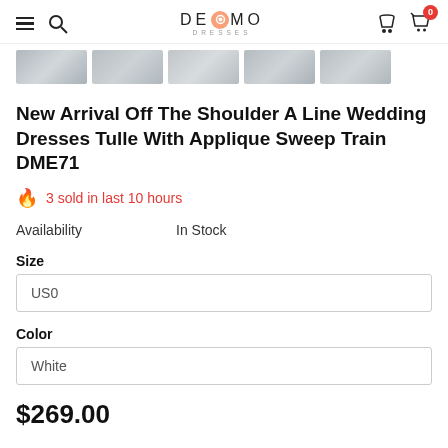DEMO DRESSES
[Figure (photo): Five thumbnail images of wedding dress details in gray tones]
New Arrival Off The Shoulder A Line Wedding Dresses Tulle With Applique Sweep Train DME71
🔥 3 sold in last 10 hours
Availability: In Stock
Size: US0
Color: White
$269.00